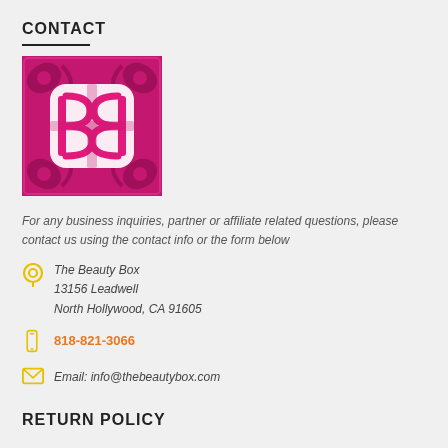CONTACT
[Figure (logo): The Beauty Box logo — pink and white ornate BB monogram on dark pink floral background, square format]
For any business inquiries, partner or affiliate related questions, please contact us using the contact info or the form below
The Beauty Box
13156 Leadwell
North Hollywood, CA 91605
818-821-3066
Email: info@thebeautybox.com
RETURN POLICY